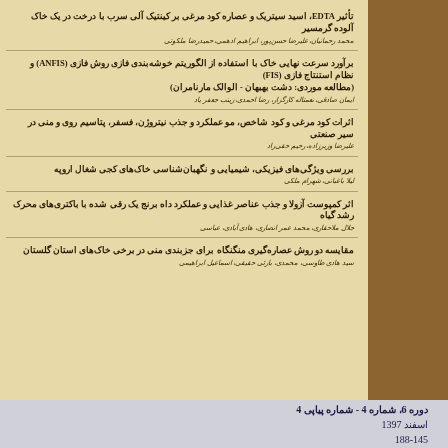تأثیر EDTA، اسید سیتریک و عصاره کود مرغی بر کینتیک آلی سرب با درخت در یک خاک آلوده گرمسیر
برآورد سرعت نهایی خاک با استفاده از الگوریتم خوشه‌بندی فازی روش فازی (ANFIS) و نظام استنتاج فازی (FIS) (مطالعه موردی: دشت بهبهان - الوالک مارنامران)
اثرات کود مرغی و کود شاخص، مو عملکرد و جذب نیتروژن، فسفر، پتاسیم روی و منی در سیر صنعتی
بررسی ویژگی‌های فیزیکی، شیمیایی و نگهبان‌شناسی خاک‌های کجی شغال اروپه
اثر کمپوست آزولا و جذب عناصر غذایی و عملکرد داه برنج یک رقی شده با باکتری‌های محرک رشد گیاه
مقایسه دو روش عصاره‌گیری منگنگاه برای جز‌بندی منی در برخی خاک‌های استان گلستان
دوره 6، شماره 4 - شماره پیاپی 4
اسفند 1397
188-145